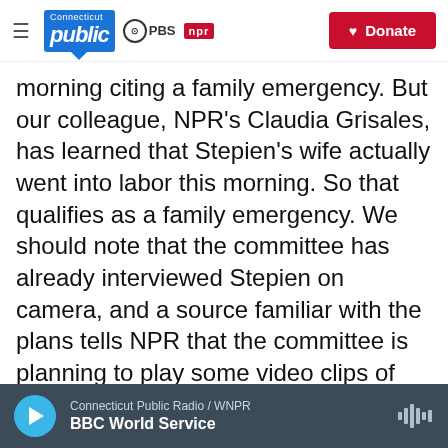Connecticut Public | PBS | NPR | Donate
morning citing a family emergency. But our colleague, NPR's Claudia Grisales, has learned that Stepien's wife actually went into labor this morning. So that qualifies as a family emergency. We should note that the committee has already interviewed Stepien on camera, and a source familiar with the plans tells NPR that the committee is planning to play some video clips of his deposition instead of his live testimony this morning. The hearing was supposed to start right around now, but they've delayed it about 30 to 45 minutes.
Connecticut Public Radio / WNPR | BBC World Service